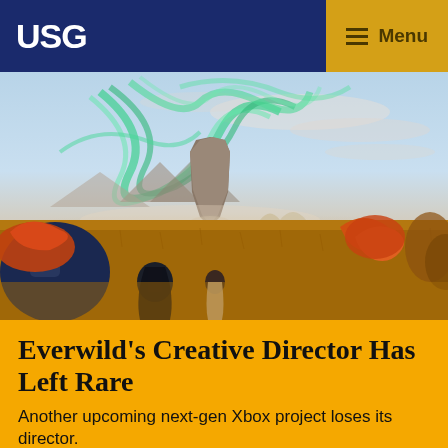USG  Menu
[Figure (illustration): Fantasy game scene showing characters walking through golden grasslands toward a towering rock formation under a dramatic sky with green aurora borealis swirls. Characters in foreground with backpacks and cloaks, orange/red tree-like creature on right.]
Everwild's Creative Director Has Left Rare
Another upcoming next-gen Xbox project loses its director.